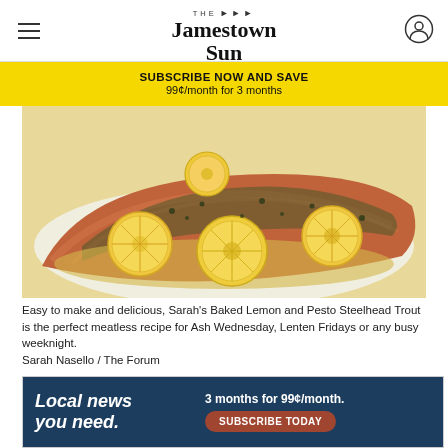The Jamestown Sun
SUBSCRIBE NOW AND SAVE
99¢/month for 3 months
[Figure (photo): Baked salmon fillet with lemon slices and pesto seasoning on a white plate with butter sauce]
Easy to make and delicious, Sarah's Baked Lemon and Pesto Steelhead Trout is the perfect meatless recipe for Ash Wednesday, Lenten Fridays or any busy weeknight.
Sarah Nasello / The Forum
By Sarah Nasello
March 0...
[Figure (infographic): Advertisement banner: Local news you need. 3 months for 99¢/month. SUBSCRIBE TODAY button.]